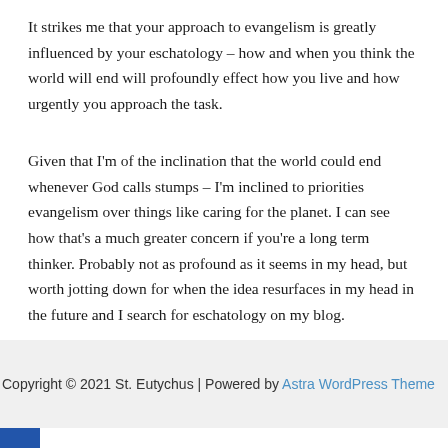It strikes me that your approach to evangelism is greatly influenced by your eschatology – how and when you think the world will end will profoundly effect how you live and how urgently you approach the task.
Given that I'm of the inclination that the world could end whenever God calls stumps – I'm inclined to priorities evangelism over things like caring for the planet. I can see how that's a much greater concern if you're a long term thinker. Probably not as profound as it seems in my head, but worth jotting down for when the idea resurfaces in my head in the future and I search for eschatology on my blog.
Copyright © 2021 St. Eutychus | Powered by Astra WordPress Theme